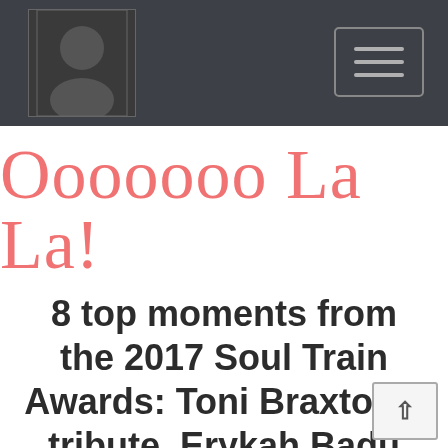Ooooooo La La! [blog header with profile photo and hamburger menu]
Ooooooo La La!
8 top moments from the 2017 Soul Train Awards: Toni Braxton's tribute, Erykah Badu